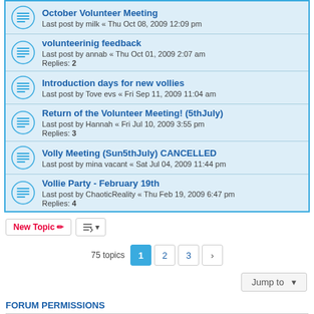October Volunteer Meeting - Last post by milk « Thu Oct 08, 2009 12:09 pm
volunteerinig feedback - Last post by annab « Thu Oct 01, 2009 2:07 am - Replies: 2
Introduction days for new vollies - Last post by Tove evs « Fri Sep 11, 2009 11:04 am
Return of the Volunteer Meeting! (5thJuly) - Last post by Hannah « Fri Jul 10, 2009 3:55 pm - Replies: 3
Volly Meeting (Sun5thJuly) CANCELLED - Last post by mina vacant « Sat Jul 04, 2009 11:44 pm
Vollie Party - February 19th - Last post by ChaoticReality « Thu Feb 19, 2009 6:47 pm - Replies: 4
New Topic | sort | 75 topics 1 2 3 >
Jump to
FORUM PERMISSIONS
You cannot post new topics in this forum
You cannot reply to topics in this forum
You cannot edit your posts in this forum